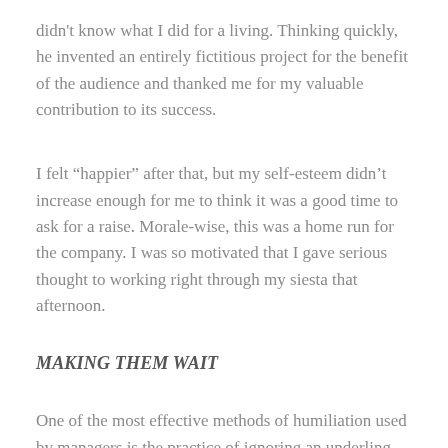didn't know what I did for a living. Thinking quickly, he invented an entirely fictitious project for the benefit of the audience and thanked me for my valuable contribution to its success.
I felt “happier” after that, but my self-esteem didn’t increase enough for me to think it was a good time to ask for a raise. Morale-wise, this was a home run for the company. I was so motivated that I gave serious thought to working right through my siesta that afternoon.
MAKING THEM WAIT
One of the most effective methods of humiliation used by managers is the practice of ignoring an underling who is in or